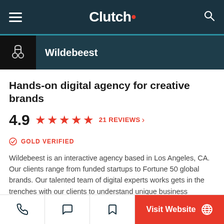Clutch
Wildebeest
Hands-on digital agency for creative brands
4.9  ★★★★★  21 REVIEWS
GOLD VERIFIED
Wildebeest is an interactive agency based in Los Angeles, CA. Our clients range from funded startups to Fortune 50 global brands. Our talented team of digital experts works gets in the trenches with our clients to understand unique business challenges and deliver clever solutions. Our capabilities include custom web app design and development, desktop apps (Mac or Windows), mobile apps (iOS and Android), Alexa Skills, Internet of Things, and experiential installations.
Visit Website